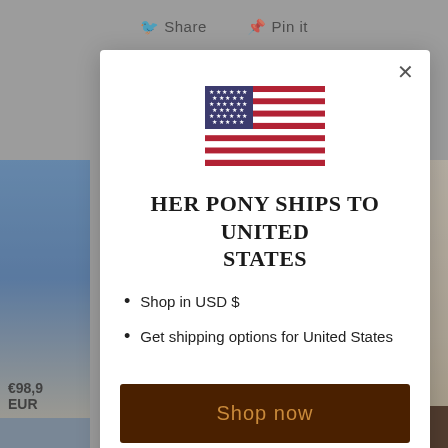[Figure (screenshot): Background of a retail website page showing Share and Pin it buttons, product photos on sides, price €98,9 EUR, and Add to cart button]
[Figure (illustration): US flag icon displayed in the center of the modal dialog]
HER PONY SHIPS TO UNITED STATES
Shop in USD $
Get shipping options for United States
Shop now
Change shipping country